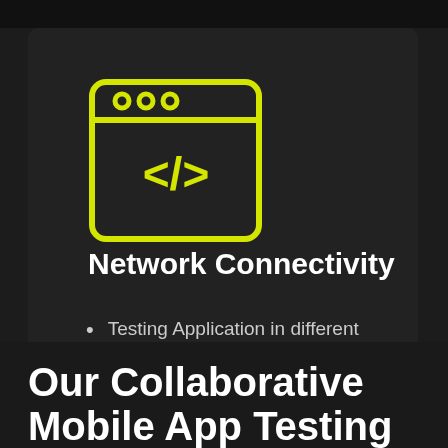[Figure (illustration): Yellow outlined browser/code window icon with three circles at top and </> code symbol in center]
Network Connectivity
Testing Application in different networks
Varying Connection Speed
Our Collaborative Mobile App Testing